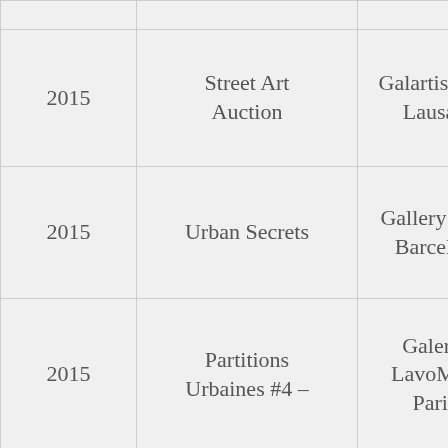| Year | Exhibition | Venue |
| --- | --- | --- |
| 2015 | Street Art Auction | Galartis Au– Lausan |
| 2015 | Urban Secrets | Gallery And́ Barcelón |
| 2015 | Partitions Urbaines #4 – | Galerie LavoMati Paris |
| 2015 | Meet the Rosie | The Squar Genève |